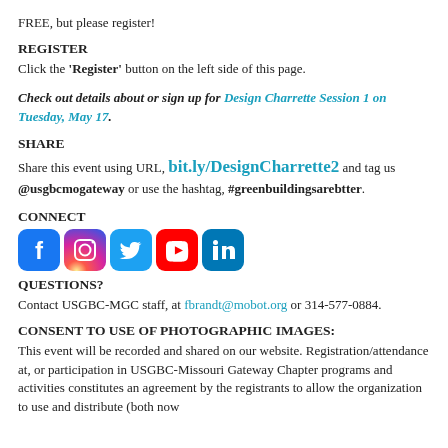FREE, but please register!
REGISTER
Click the 'Register' button on the left side of this page.
Check out details about or sign up for Design Charrette Session 1 on Tuesday, May 17.
SHARE
Share this event using URL, bit.ly/DesignCharrette2 and tag us @usgbcmogateway or use the hashtag, #greenbuildingsarebtter.
CONNECT
[Figure (illustration): Social media icons row: Facebook, Instagram, Twitter, YouTube, LinkedIn]
QUESTIONS?
Contact USGBC-MGC staff, at fbrandt@mobot.org or 314-577-0884.
CONSENT TO USE OF PHOTOGRAPHIC IMAGES:
This event will be recorded and shared on our website. Registration/attendance at, or participation in USGBC-Missouri Gateway Chapter programs and activities constitutes an agreement by the registrants to allow the organization to use and distribute (both now